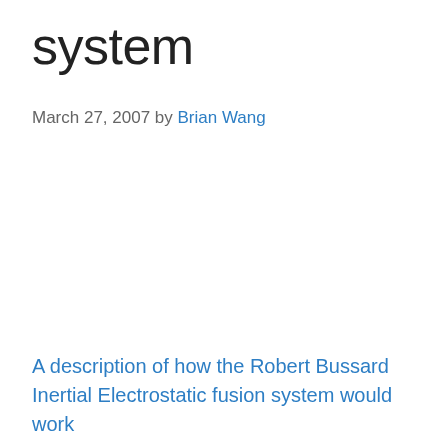system
March 27, 2007 by Brian Wang
A description of how the Robert Bussard Inertial Electrostatic fusion system would work